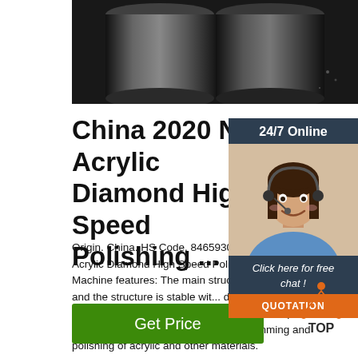[Figure (photo): Dark metallic cylindrical rods photographed against a dark background, product photo for industrial polishing machine]
China 2020 New Acrylic Diamond High Speed Polishing ...
Origin. China. HS Code. 8465930000. 2020 New Acrylic Diamond High Speed Polishing M... 1, Machine features: The main structure of granite, and the structure is stable with deformation; Precision screw rod, imported drive, cylinder quick press material; 2, Machine function: Trimming and polishing of acrylic and other materials.
[Figure (photo): Customer service agent: woman with headset smiling, with 24/7 Online label, Click here for free chat text, and QUOTATION button overlay]
[Figure (other): TOP navigation button with orange dot triangle icon]
Get Price